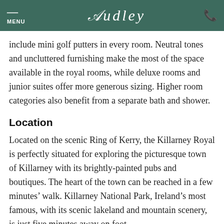MENU | AUDLEY
include mini golf putters in every room. Neutral tones and uncluttered furnishing make the most of the space available in the royal rooms, while deluxe rooms and junior suites offer more generous sizing. Higher room categories also benefit from a separate bath and shower.
Location
Located on the scenic Ring of Kerry, the Killarney Royal is perfectly situated for exploring the picturesque town of Killarney with its brightly-painted pubs and boutiques. The heart of the town can be reached in a few minutes’ walk. Killarney National Park, Ireland’s most famous, with its scenic lakeland and mountain scenery, is just five minutes away on foot.
Food and drink